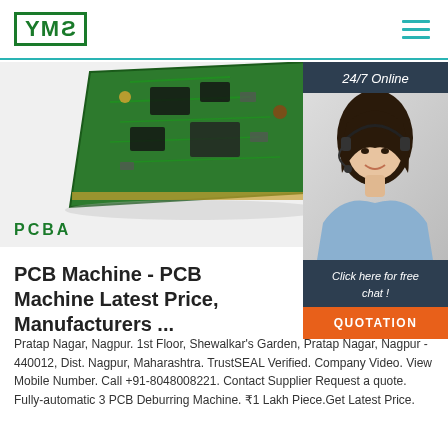[Figure (logo): YMS logo — green bordered box with bold green text 'YMS']
[Figure (photo): Green PCB circuit board photographed at an angle against white background, with PCBA label below]
[Figure (photo): Right sidebar with dark navy background: '24/7 Online' header, photo of smiling woman with headset, 'Click here for free chat!' text, and orange QUOTATION button]
PCB Machine - PCB Machine Latest Price, Manufacturers ...
Pratap Nagar, Nagpur. 1st Floor, Shewalkar's Garden, Pratap Nagar, Nagpur - 440012, Dist. Nagpur, Maharashtra. TrustSEAL Verified. Company Video. View Mobile Number. Call +91-8048008221. Contact Supplier Request a quote. Fully-automatic 3 PCB Deburring Machine. ₹1 Lakh Piece.Get Latest Price.